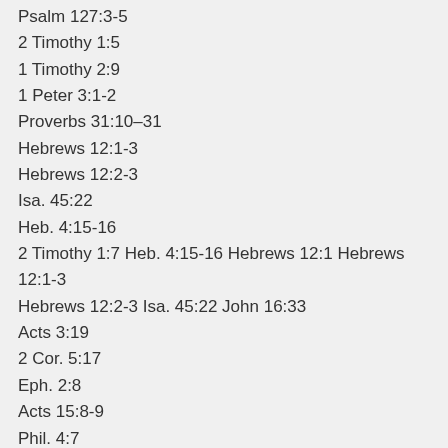Psalm 127:3-5
2 Timothy 1:5
1 Timothy 2:9
1 Peter 3:1-2
Proverbs 31:10–31
Hebrews 12:1-3
Hebrews 12:2-3
Isa. 45:22
Heb. 4:15-16
2 Timothy 1:7 Heb. 4:15-16 Hebrews 12:1 Hebrews 12:1-3
Hebrews 12:2-3 Isa. 45:22 John 16:33
Acts 3:19
2 Cor. 5:17
Eph. 2:8
Acts 15:8-9
Phil. 4:7
Rom. 8:37
(2 Corinthians 5:20-21